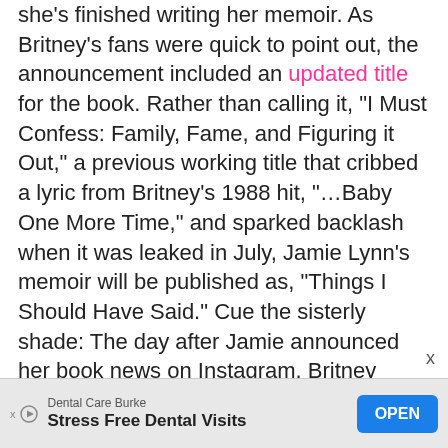she's finished writing her memoir. As Britney's fans were quick to point out, the announcement included an updated title for the book. Rather than calling it, "I Must Confess: Family, Fame, and Figuring it Out," a previous working title that cribbed a lyric from Britney's 1988 hit, "…Baby One More Time," and sparked backlash when it was leaked in July, Jamie Lynn's memoir will be published as, "Things I Should Have Said." Cue the sisterly shade: The day after Jamie announced her book news on Instagram, Britney wrote this on the platform: "Psssssss also great news … I'm thinking of releasing a book 📚 next year 😉 but I'm having issues coming up with a title so maybe my fans could help !!!! Option #1 … 'S***, I really don't know' Option #2 … 'I really care what people think! 😉💋❕!!! What do you
[Figure (other): Advertisement banner: Dental Care Burke - Stress Free Dental Visits with OPEN button]